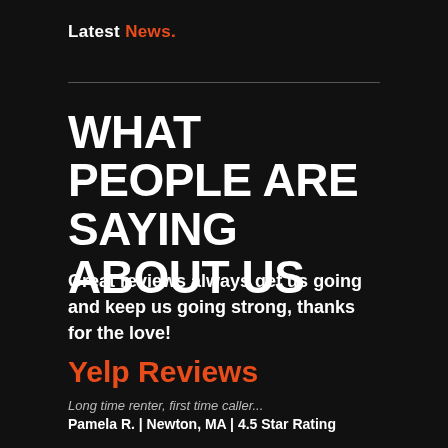Latest News.
WHAT PEOPLE ARE SAYING ABOUT US
Great reviews always get us going and keep us going strong, thanks for the love!
Yelp Reviews
Long time renter, first time caller...
Pamela R. | Newton, MA | 4.5 Star Rating